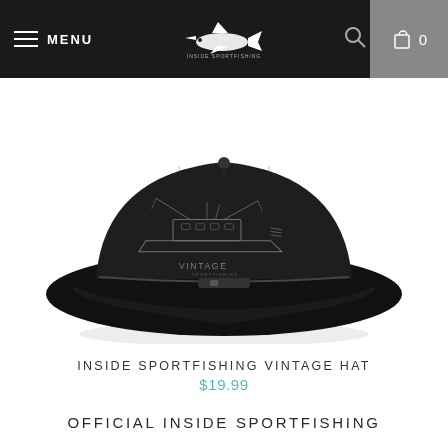MENU | [logo: Inside Sportfishing] | [search icon] | 0
[Figure (photo): Black baseball cap with a sportfishing boat blueprint/schematic graphic on the front panel and the word VINTAGE below it, photographed from above against a white background.]
INSIDE SPORTFISHING VINTAGE HAT
$19.99
OFFICIAL INSIDE SPORTFISHING